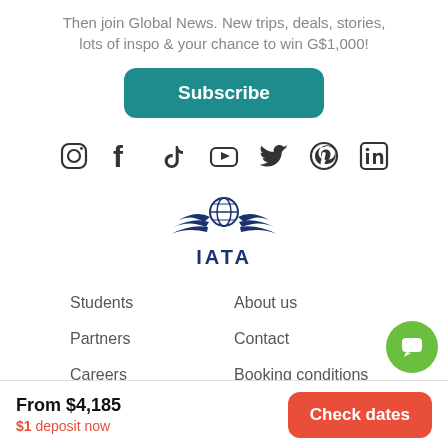Then join Global News. New trips, deals, stories, lots of inspo & your chance to win G$1,000!
Subscribe
[Figure (illustration): Row of social media icons: Instagram, Facebook, TikTok, YouTube, Twitter, Pinterest, LinkedIn]
[Figure (logo): IATA logo with globe and wings in dark blue]
Students
About us
Partners
Contact
Careers
Booking conditions
From $4,185
$1 deposit now
Check dates